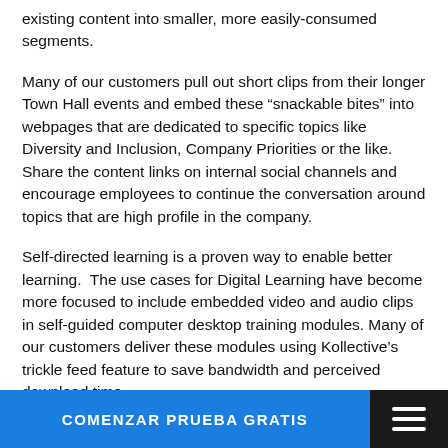existing content into smaller, more easily-consumed segments.
Many of our customers pull out short clips from their longer Town Hall events and embed these “snackable bites” into webpages that are dedicated to specific topics like Diversity and Inclusion, Company Priorities or the like. Share the content links on internal social channels and encourage employees to continue the conversation around topics that are high profile in the company.
Self-directed learning is a proven way to enable better learning.  The use cases for Digital Learning have become more focused to include embedded video and audio clips in self-guided computer desktop training modules. Many of our customers deliver these modules using Kollective’s trickle feed feature to save bandwidth and perceived download time.
COMENZAR PRUEBA GRATIS